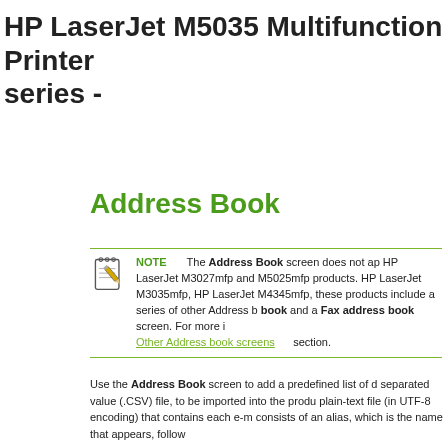HP LaserJet M5035 Multifunction Printer series -
Address Book
NOTE   The Address Book screen does not ap HP LaserJet M3027mfp and M5025mfp products. HP LaserJet M3035mfp, HP LaserJet M4345mfp, these products include a series of other Address b book and a Fax address book screen. For more i Other Address book screens section.
Use the Address Book screen to add a predefined list of d separated value (.CSV) file, to be imported into the produ plain-text file (in UTF-8 encoding) that contains each e-m consists of an alias, which is the name that appears, follow